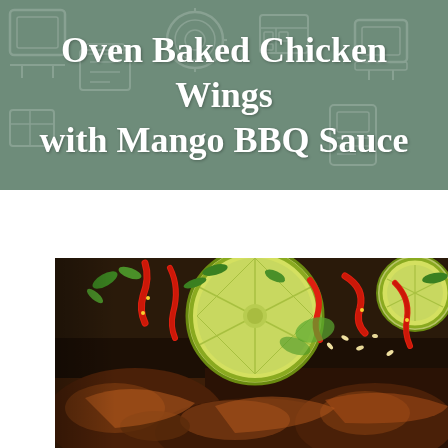Oven Baked Chicken Wings with Mango BBQ Sauce
[Figure (photo): Close-up photo of oven baked chicken wings garnished with lime slices, red chili pepper strips, fresh herbs, and sesame seeds on a dark plate]